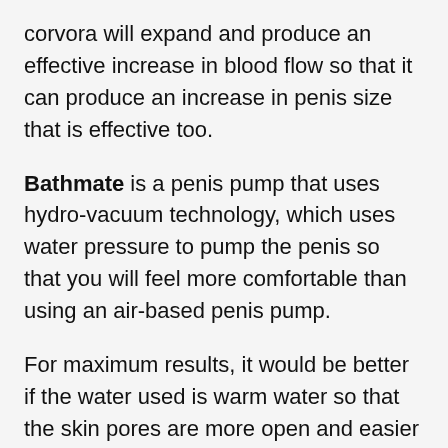corvora will expand and produce an effective increase in blood flow so that it can produce an increase in penis size that is effective too.
Bathmate is a penis pump that uses hydro-vacuum technology, which uses water pressure to pump the penis so that you will feel more comfortable than using an air-based penis pump.
For maximum results, it would be better if the water used is warm water so that the skin pores are more open and easier to stretch, and provide maximum results to increase the size of your